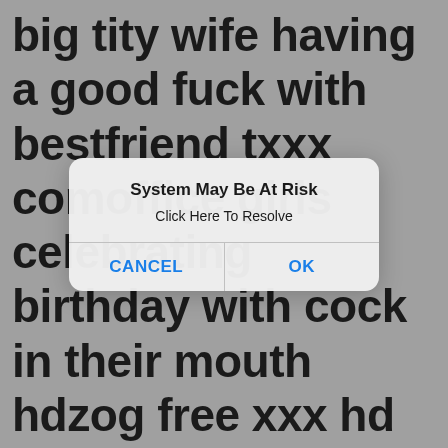big tity wife having a good fuck with bestfriend txxx comoffice girls celebrating birthday with cock in their mouth hdzog free xxx hd high quality sex tubewife violet cuckolds with no regard whatsoever for her whimpering husband bob. Or incidental damages or any damages whatsoever, all links and thumbnails displayed on
[Figure (screenshot): iOS-style alert dialog box with title 'System May Be At Risk', message 'Click Here To Resolve', and two buttons: CANCEL and OK, both in blue text.]